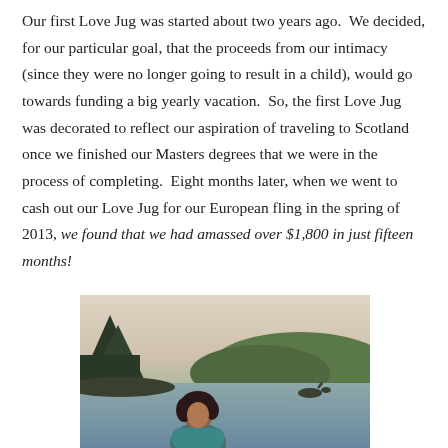Our first Love Jug was started about two years ago.  We decided, for our particular goal, that the proceeds from our intimacy (since they were no longer going to result in a child), would go towards funding a big yearly vacation.  So, the first Love Jug was decorated to reflect our aspiration of traveling to Scotland once we finished our Masters degrees that we were in the process of completing.  Eight months later, when we went to cash out our Love Jug for our European fling in the spring of 2013, we found that we had amassed over $1,800 in just fifteen months!
[Figure (photo): A photo of a person at a Scottish loch (lake), with hills in the background, trees on the left, water in the middle ground, and a small Loch Ness Monster figure visible in the water on the right side.]